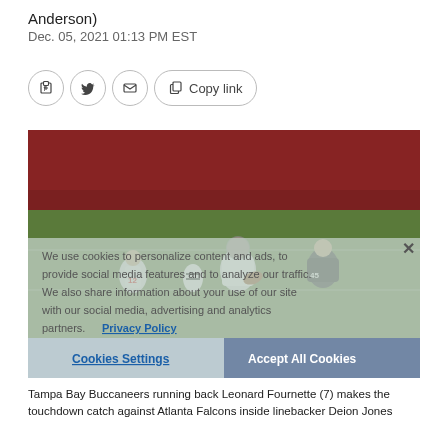Anderson)
Dec. 05, 2021 01:13 PM EST
[Figure (other): Social share buttons: Facebook, Twitter, Email, and Copy link button]
[Figure (photo): Tampa Bay Buccaneers running back Leonard Fournette (7) makes the touchdown catch against Atlanta Falcons inside linebacker Deion Jones, with cookie consent overlay visible]
We use cookies to personalize content and ads, to provide social media features and to analyze our traffic. We also share information about your use of our site with our social media, advertising and analytics partners. Privacy Policy
Cookies Settings
Accept All Cookies
Tampa Bay Buccaneers running back Leonard Fournette (7) makes the touchdown catch against Atlanta Falcons inside linebacker Deion Jones